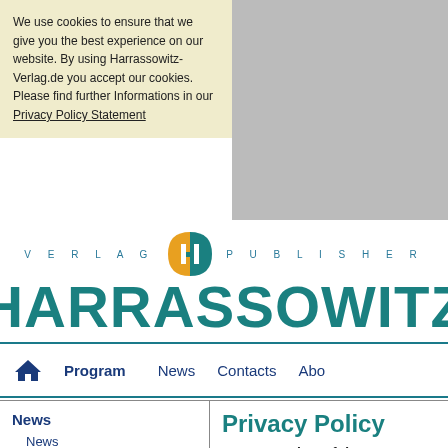We use cookies to ensure that we give you the best experience on our website. By using Harrassowitz-Verlag.de you accept our cookies. Please find further Informations in our Privacy Policy Statement
[Figure (logo): Harrassowitz Verlag Publisher logo with circular H emblem in teal and orange, with VERLAG PUBLISHER text and HARRASSOWITZ in large teal letters]
Program
News   Contacts   Abo
News
News
Dates & Events
Publishing House
Privacy Policy
1. An overview of data prote
General information
The following information will pr data when you visit this website